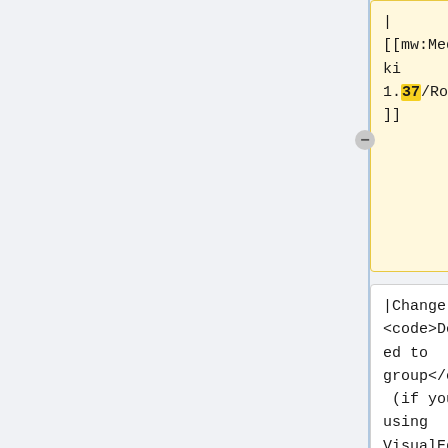| [[mw:MediaWiki 1.37/Roadmap]]
| [[mw:MediaWiki 1.39/Roadmap]]
|Change the <code>Deployed to group</code> (if you're using VisualEditor) or the 3rd parameter of the <code>WMFReleaseTableRow</code> template (if you're
|Change the <code>Deployed to group</code> (if you're using VisualEditor) or the 3rd parameter of the <code>WMFReleaseTableRow</code> template (if you're